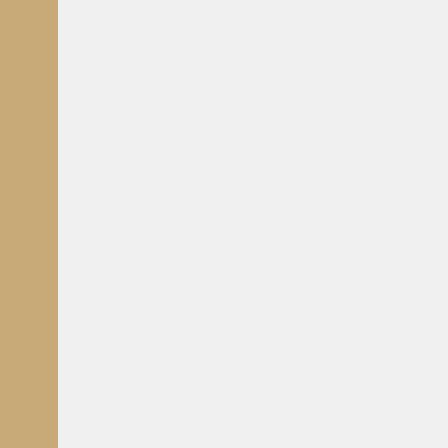sunkart a écri
[Figure (photo): Small reddish/orange avatar image, partially visible]
Levi59
Bon lou
http://im
Uploade

Je pens
Bin là je perd n
Peut-être en es
contenu du fich
Si le fichier est
---Mon Conky! P
---Retrouvez tou
Carpe Diem